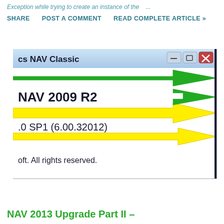Exception while trying to create an instance of the ...
SHARE   POST A COMMENT   READ COMPLETE ARTICLE »
[Figure (screenshot): Screenshot of a Windows application titled 'cs NAV Classic' showing NAV 2009 R2 version information with version number .0 SP1 (6.00.32012) and copyright text 'oft. All rights reserved.' The screenshot has green and yellow arrow annotations overlaid.]
NAV 2013 Upgrade Part II –